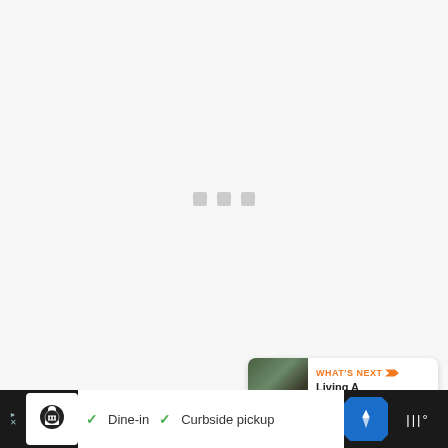[Figure (screenshot): Loading state with three small gray squares centered on a light gray background]
[Figure (infographic): Orange circular heart/like button showing count of 2 and a share button below it]
[Figure (infographic): 'WHAT'S NEXT' card with thumbnail image and title 'Living A Laptop...']
[Figure (infographic): Advertisement bar at bottom: restaurant icon, ad close button, Dine-in and Curbside pickup checkmarks, navigation diamond icon, dark right section]